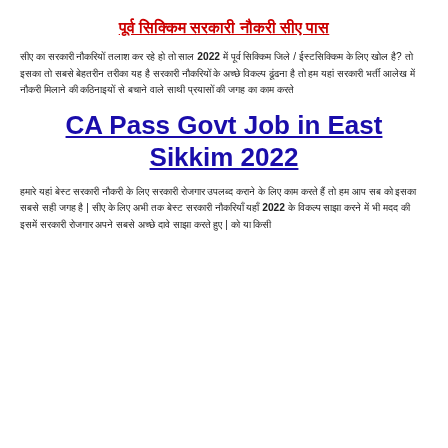पूर्व सिक्किम सरकारी नौकरी सीए पास
सीए का सरकारी नौकरियों तलाश कर रहे हो तो साल 2022 में पूर्व सिक्किम जिले / ईस्टसिक्किम के लिए खोल है? तो इसका तो सबसे बेहतरीन तरीका यह है सरकारी नौकरियों के अच्छे विकल्प ढूंढना है तो हम यहां सरकारी भर्ती आलेख में नौकरी मिलाने की कठिनाइयों से बचाने वाले साथी प्रयासों की जगह का काम करते
CA Pass Govt Job in East Sikkim 2022
हमारे यहां बेस्ट सरकारी नौकरी के लिए सरकारी रोजगार उपलब्द कराने के लिए काम करते हैं तो हम आप सब को इसका सबसे सही जगह है | सीए के लिए अभी तक बेस्ट सरकारी नौकरियाँ यहाँ 2022 के विकल्प साझा करने में भी मदद की इसमें सरकारी रोजगार अपने सबसे अच्छे दावे साझा करते हुए | को या किसी